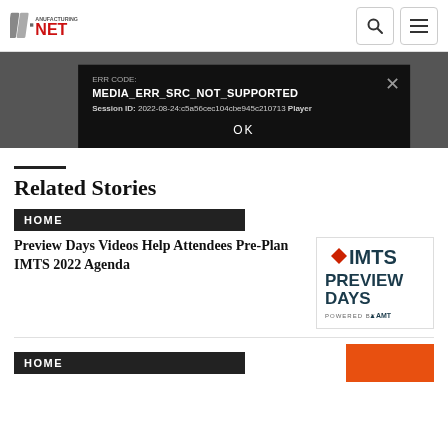Manufacturing.net logo, search icon, menu icon
[Figure (screenshot): Video player error dialog on dark background showing MEDIA_ERR_SRC_NOT_SUPPORTED, Session ID: 2022-08-24:c5a56cec104cbe945c210713, Player element and OK button]
Related Stories
HOME
Preview Days Videos Help Attendees Pre-Plan IMTS 2022 Agenda
[Figure (logo): IMTS Preview Days powered by AMT logo thumbnail]
HOME